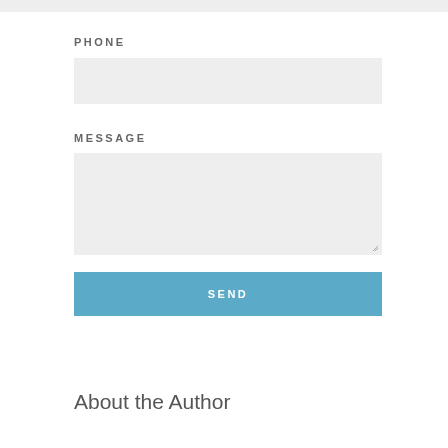PHONE
[Figure (other): Phone input field (gray rectangle form field)]
MESSAGE
[Figure (other): Message textarea (gray rectangle form field with resize handle)]
SEND
About the Author